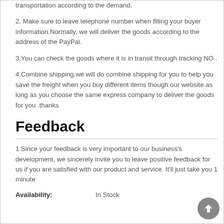transportation according to the demand.
2. Make sure to leave telephone number when filling your buyer information.Normally, we will deliver the goods according to the address of the PayPal.
3.You can check the goods where it is in transit through tracking NO .
4.Combine shipping.we will do combine shipping for you to help you save the freight when you buy different items though our website.as long as you choose the same express company to deliver the goods for you .thanks
Feedback
1.Since your feedback is very important to our business's development, we sincerely invite you to leave positive feedback for us if you are satisfied with our product and service. It'll just take you 1 minute
Availability:    In Stock